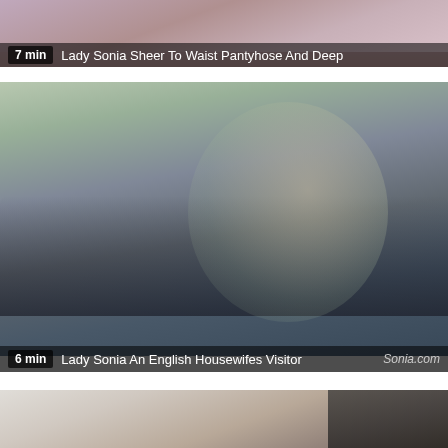[Figure (photo): Video thumbnail top strip showing person in pink/dark clothing, partially visible]
7 min   Lady Sonia Sheer To Waist Pantyhose And Deep
[Figure (photo): Video thumbnail of a woman in a teal/green dress reclining on a dark leather sofa]
6 min   Lady Sonia An English Housewifes Visitor   Sonia.com
[Figure (photo): Video thumbnail of woman in white top near dark equipment/furniture, partially visible]